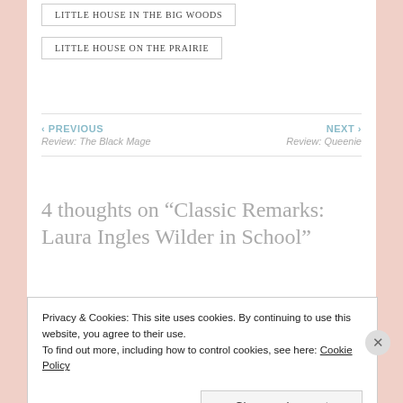LITTLE HOUSE IN THE BIG WOODS
LITTLE HOUSE ON THE PRAIRIE
‹ PREVIOUS
Review: The Black Mage
NEXT ›
Review: Queenie
4 thoughts on “Classic Remarks: Laura Ingles Wilder in School”
Privacy & Cookies: This site uses cookies. By continuing to use this website, you agree to their use.
To find out more, including how to control cookies, see here: Cookie Policy
Close and accept